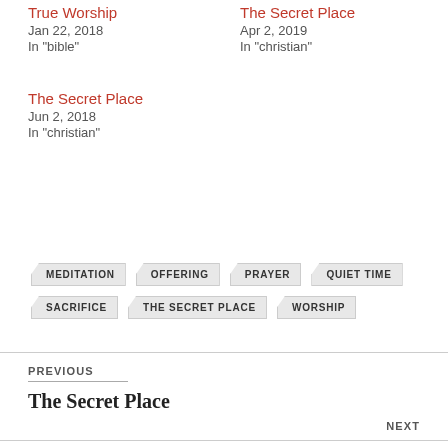True Worship
Jan 22, 2018
In "bible"
The Secret Place
Apr 2, 2019
In "christian"
The Secret Place
Jun 2, 2018
In "christian"
MEDITATION
OFFERING
PRAYER
QUIET TIME
SACRIFICE
THE SECRET PLACE
WORSHIP
PREVIOUS
The Secret Place
NEXT